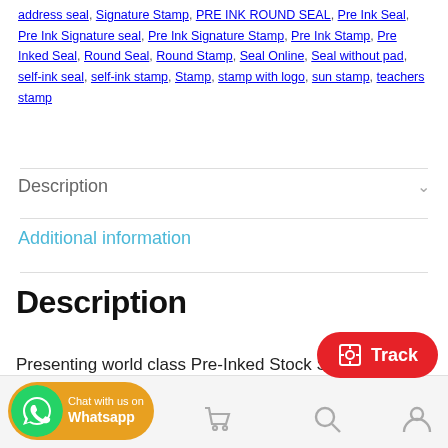address seal, Signature Stamp, PRE INK ROUND SEAL, Pre Ink Seal, Pre Ink Signature seal, Pre Ink Signature Stamp, Pre Ink Stamp, Pre Inked Seal, Round Seal, Round Stamp, Seal Online, Seal without pad, self-ink seal, self-ink stamp, Stamp, stamp with logo, sun stamp, teachers stamp
Description
Additional information
Description
Presenting world class Pre-Inked Stock Stamp from Stamp Makers India.